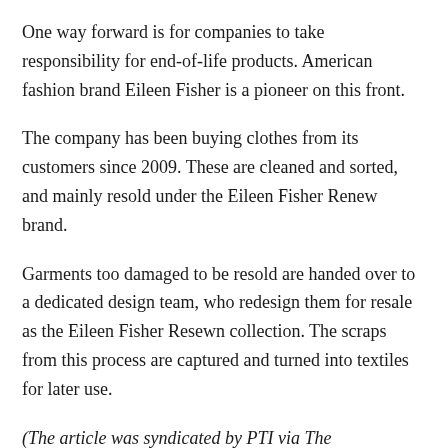One way forward is for companies to take responsibility for end-of-life products. American fashion brand Eileen Fisher is a pioneer on this front.
The company has been buying clothes from its customers since 2009. These are cleaned and sorted, and mainly resold under the Eileen Fisher Renew brand.
Garments too damaged to be resold are handed over to a dedicated design team, who redesign them for resale as the Eileen Fisher Resewn collection. The scraps from this process are captured and turned into textiles for later use.
(The article was syndicated by PTI via The Conversation)
Related Posts: